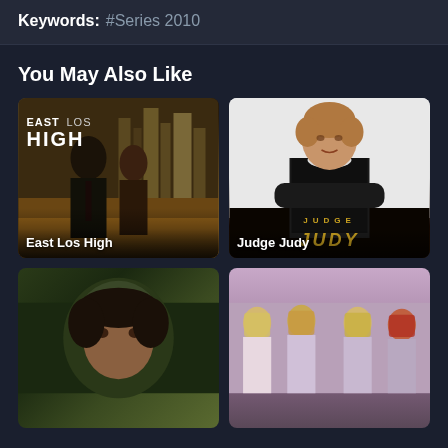Keywords: #Series 2010
You May Also Like
[Figure (photo): East Los High TV show poster with two young people and city skyline, title overlay]
[Figure (photo): Judge Judy TV show with woman in judge robes and show logo]
[Figure (photo): Close-up of man's face on dark green background]
[Figure (photo): Group of four young women posing together]